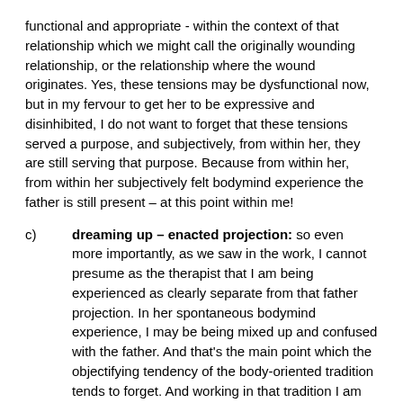functional and appropriate - within the context of that relationship which we might call the originally wounding relationship, or the relationship where the wound originates. Yes, these tensions may be dysfunctional now, but in my fervour to get her to be expressive and disinhibited, I do not want to forget that these tensions served a purpose, and subjectively, from within her, they are still serving that purpose. Because from within her, from within her subjectively felt bodymind experience the father is still present – at this point within me!
c)   dreaming up – enacted projection: so even more importantly, as we saw in the work, I cannot presume as the therapist that I am being experienced as clearly separate from that father projection. In her spontaneous bodymind experience, I may be being mixed up and confused with the father. And that's the main point which the objectifying tendency of the body-oriented tradition tends to forget. And working in that tradition I am more liable to forget that point or ignore it, the more I am exclusively focussed on the patient and their bodymind, rather than focussed on the whole relationship, including myself, as a system.
In simple terms, I work with B. and her strangulation and I have this fantasy of her being free and maybe she has this fantasy that she wants